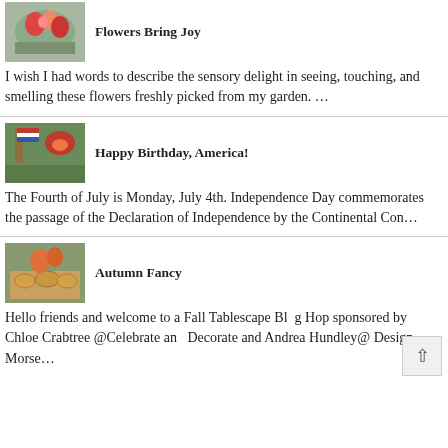[Figure (photo): Thumbnail photo of flowers in a vase, garden setting]
Flowers Bring Joy
I wish I had words to describe the sensory delight in seeing, touching,  and smelling these flowers freshly picked from my garden. …
[Figure (photo): Thumbnail photo of outdoor garden with American flag and red flowers]
Happy Birthday, America!
The Fourth of July is Monday, July 4th.  Independence Day commemorates the passage of the Declaration of Independence by the Continental Con…
[Figure (photo): Thumbnail photo of autumn table setting with orange plates and flowers]
Autumn Fancy
Hello friends and welcome to a Fall Tablescape Blog Hop sponsored by Chloe Crabtree @Celebrate and Decorate and Andrea Hundley@ Design Morse…